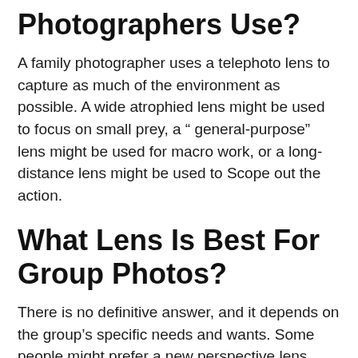Photographers Use?
A family photographer uses a telephoto lens to capture as much of the environment as possible. A wide atrophied lens might be used to focus on small prey, a “ general-purpose” lens might be used for macro work, or a long-distance lens might be used to Scope out the action.
What Lens Is Best For Group Photos?
There is no definitive answer, and it depends on the group’s specific needs and wants. Some people might prefer a new perspective lens such as thecticcam while others might